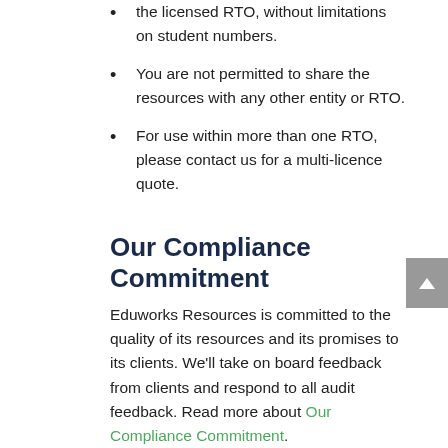the licensed RTO, without limitations on student numbers.
You are not permitted to share the resources with any other entity or RTO.
For use within more than one RTO, please contact us for a multi-licence quote.
Our Compliance Commitment
Eduworks Resources is committed to the quality of its resources and its promises to its clients. We'll take on board feedback from clients and respond to all audit feedback. Read more about Our Compliance Commitment.